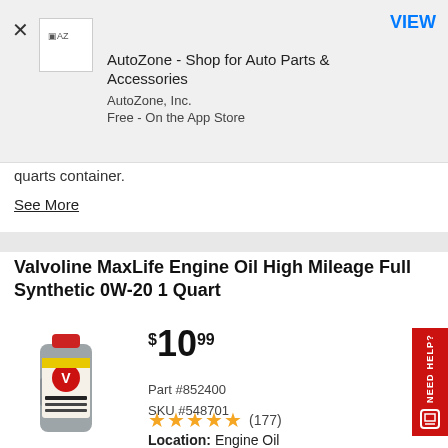[Figure (screenshot): AutoZone app banner with AZ logo icon, app title 'AutoZone - Shop for Auto Parts & Accessories', publisher 'AutoZone, Inc.', subtitle 'Free - On the App Store', close X button, and VIEW button]
quarts container.
See More
Valvoline MaxLife Engine Oil High Mileage Full Synthetic 0W-20 1 Quart
[Figure (photo): Valvoline MaxLife Engine Oil bottle, 1 quart size, gray and red label]
$10.99
Part #852400
SKU #548701
★★★★★ (177)
Location: Engine Oil